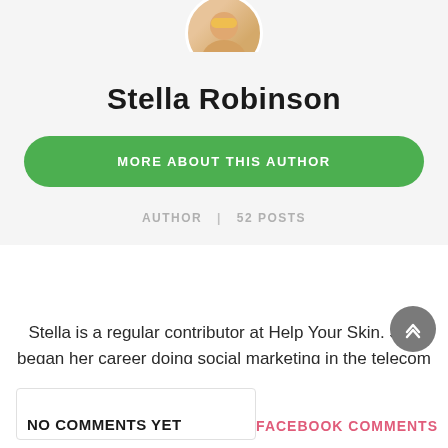[Figure (photo): Circular profile photo of Stella Robinson, partially visible at top of page]
Stella Robinson
MORE ABOUT THIS AUTHOR
AUTHOR | 52 POSTS
Stella is a regular contributor at Help Your Skin. She began her career doing social marketing in the telecom industry but soon realised she wanted to start publishing independently. She loves good pedicure and a glass of good wine.
NO COMMENTS YET
FACEBOOK COMMENTS